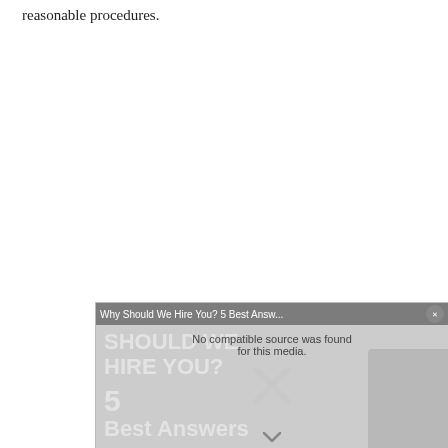reasonable procedures.
[Figure (other): Video overlay widget with title 'Why Should We Hire You? 5 Best Answ...' showing 'No compatible source was found for this media.' error message, with background text 'SHOULD WE HIRE YOU? 5 Best Answers' and a close button marked with X, and a chevron down at the bottom.]